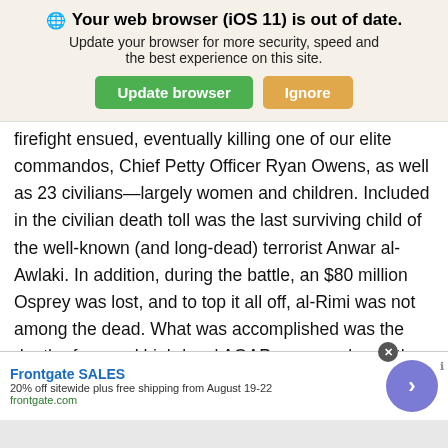[Figure (screenshot): Browser update notification banner with globe icon, bold title 'Your web browser (iOS 11) is out of date.', subtitle 'Update your browser for more security, speed and the best experience on this site.', and two buttons: green 'Update browser' and tan 'Ignore'.]
firefight ensued, eventually killing one of our elite commandos, Chief Petty Officer Ryan Owens, as well as 23 civilians—largely women and children. Included in the civilian death toll was the last surviving child of the well-known (and long-dead) terrorist Anwar al-Awlaki. In addition, during the battle, an $80 million Osprey was lost, and to top it all off, al-Rimi was not among the dead. What was accomplished was the death of several high-level AQAP personnel, and the team was able to secure a large cache of intel. However, for many, the loss of Chief Owens and the death of all those civilians was too large a toll to pay for wha
[Figure (screenshot): Advertisement banner for Frontgate SALES: '20% off sitewide plus free shipping from August 19-22', frontgate.com, with a purple circular arrow button on the right and a close (X) button.]